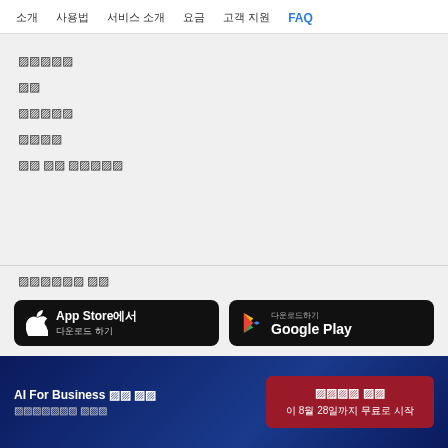홈 소개 서비스 소개 요금 고객 지원 FAQ
서비스소개
요금
고객지원
마이앱
서비스 이용 약관안내
앱스토어에서 다운로드
[Figure (screenshot): App Store 다운로드 하기 button]
[Figure (screenshot): 다운로드하기 Google Play button]
AI For Business 무료 체험 인공지능으로 비즈니스 시작하기
무료로 시작 이 8월 28일까지 무료로 시작